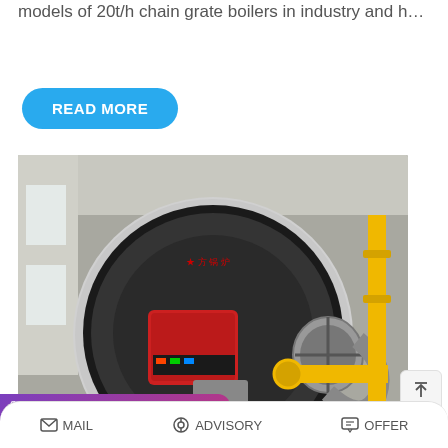models of 20t/h chain grate boilers in industry and h…
READ MORE
[Figure (photo): Industrial gas-fired fire tube boiler with red burner unit, silver cylindrical shell, stainless steel exhaust ductwork and yellow gas piping, installed inside an industrial building]
ler plant
themia
Save Stickers on WhatsApp
MAIL   ADVISORY   OFFER